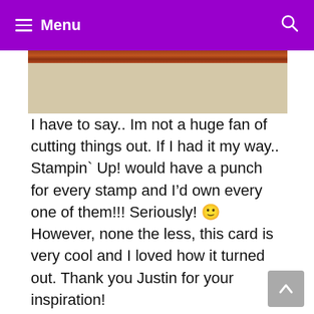Menu
[Figure (photo): Partial view of a card with a wood-grain red bar at top and cream/vanilla colored card stock below]
I have to say.. Im not a huge fan of cutting things out. If I had it my way.. Stampin' Up! would have a punch for every stamp and I'd own every one of them!!! Seriously! 🙂 However, none the less, this card is very cool and I loved how it turned out. Thank you Justin for your inspiration!
Here is what was used:
Gently Falling Clear Mount Stamp Set
Teeny Tiny Wishes Wood Mount Set
Very Vanilla Card Stock
Cajun Craze Card Stock